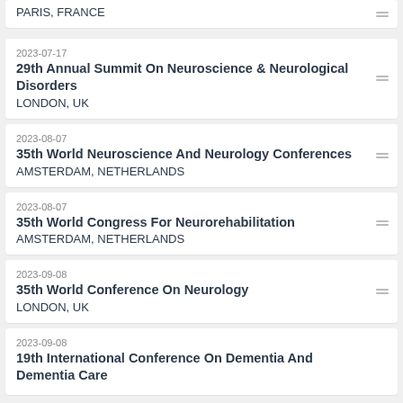PARIS, FRANCE
2023-07-17
29th Annual Summit On Neuroscience & Neurological Disorders
LONDON, UK
2023-08-07
35th World Neuroscience And Neurology Conferences
AMSTERDAM, NETHERLANDS
2023-08-07
35th World Congress For Neurorehabilitation
AMSTERDAM, NETHERLANDS
2023-09-08
35th World Conference On Neurology
LONDON, UK
2023-09-08
19th International Conference On Dementia And Dementia Care